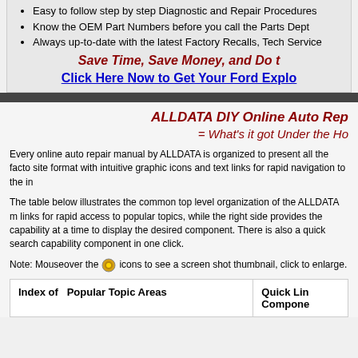Easy to follow step by step Diagnostic and Repair Procedures
Know the OEM Part Numbers before you call the Parts Dept
Always up-to-date with the latest Factory Recalls, Tech Service
Save Time, Save Money, and Do t
Click Here Now to Get Your Ford Explo
ALLDATA DIY Online Auto Rep = What's it got Under the Ho
Every online auto repair manual by ALLDATA is organized to present all the facto site format with intuitive graphic icons and text links for rapid navigation to the in
The table below illustrates the common top level organization of the ALLDATA m links for rapid access to popular topics, while the right side provides the capability at a time to display the desired component. There is also a quick search capability component in one click.
Note: Mouseover the icons to see a screen shot thumbnail, click to enlarge.
| Index of  Popular Topic Areas | Quick Lin Compone |
| --- | --- |